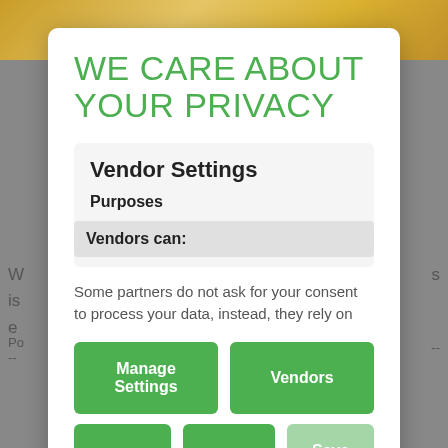[Figure (screenshot): Background page with photo at top showing golden/yellow tones, and partial article text visible on sides and bottom]
WE CARE ABOUT YOUR PRIVACY
Vendor Settings
Purposes
Vendors can:
Some partners do not ask for your consent to process your data, instead, they rely on
Manage Settings
Vendors
Accept All
Reject All
Save & Exit